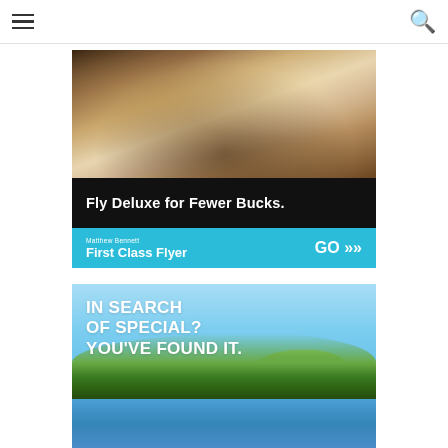☰   🔍
[Figure (photo): Advertisement for 'First Class Flyer' book by Matthew Bennett. Top half shows luxury airplane first class cabin interior with leather seats, wood paneling, and amenities. Black banner reads 'Fly Deluxe for Fewer Bucks.' Blue banner below shows 'Matthew Bennett / First Class Flyer GO >>']
[Figure (photo): Advertisement with text 'IN SEARCH OF SPECIAL? YOU'VE FOUND IT.' over a scenic photo of a hillside village overlooking a calm blue sea with island in background and lush green vegetation.]